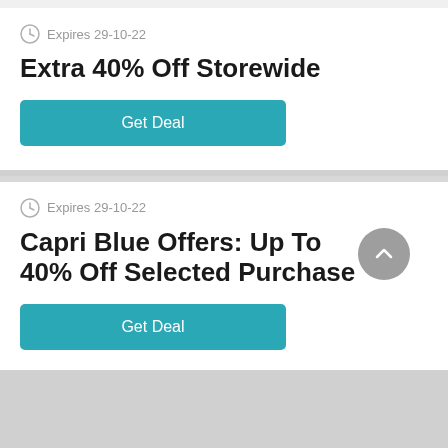Expires 29-10-22
Extra 40% Off Storewide
Get Deal
Expires 29-10-22
Capri Blue Offers: Up To 40% Off Selected Purchase
Get Deal